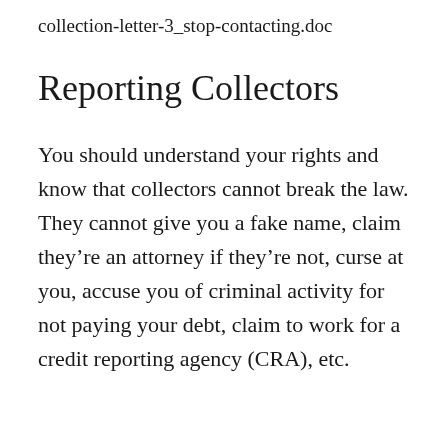collection-letter-3_stop-contacting.doc
Reporting Collectors
You should understand your rights and know that collectors cannot break the law. They cannot give you a fake name, claim they’re an attorney if they’re not, curse at you, accuse you of criminal activity for not paying your debt, claim to work for a credit reporting agency (CRA), etc.